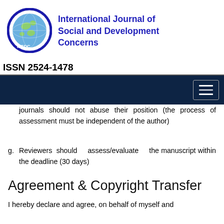[Figure (logo): IJSDC logo: globe inside a blue ellipse with IJSDC label]
International Journal of Social and Development Concerns
ISSN 2524-1478
[Figure (other): Dark navy navigation bar with hamburger menu icon]
journals should not abuse their position (the process of assessment must be independent of the author)
Reviewers should assess/evaluate the manuscript within the deadline (30 days)
Agreement & Copyright Transfer
I hereby declare and agree, on behalf of myself and